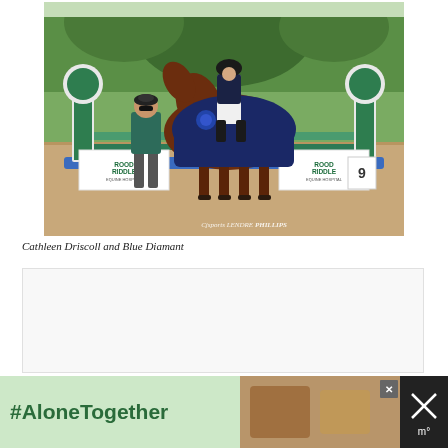[Figure (photo): Equestrian competition photo showing Cathleen Driscoll riding Blue Diamant, a bay horse draped in a navy blue winner's blanket with blue ribbons, at a show jumping venue with Rood & Riddle Equine Hospital sponsor banners. A man in a blue-green jacket stands beside the horse. Green hedges and trees visible in background. Photo credit: CJS Sports Lendre Phillips.]
Cathleen Driscoll and Blue Diamant
[Figure (screenshot): Advertisement banner at the bottom of the page with black background. Left portion has a light green background with '#AloneTogether' text in dark green. Center shows a photo of a smiling man and child waving at a screen. Right side has an X close button and a dark brand/logo block with crossed lines and 'm' symbol.]